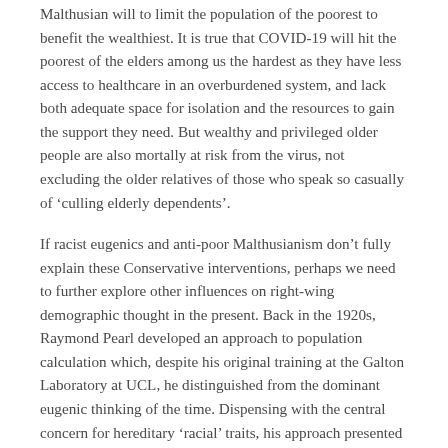Malthusian will to limit the population of the poorest to benefit the wealthiest. It is true that COVID-19 will hit the poorest of the elders among us the hardest as they have less access to healthcare in an overburdened system, and lack both adequate space for isolation and the resources to gain the support they need. But wealthy and privileged older people are also mortally at risk from the virus, not excluding the older relatives of those who speak so casually of ‘culling elderly dependents’.
If racist eugenics and anti-poor Malthusianism don’t fully explain these Conservative interventions, perhaps we need to further explore other influences on right-wing demographic thought in the present. Back in the 1920s, Raymond Pearl developed an approach to population calculation which, despite his original training at the Galton Laboratory at UCL, he distinguished from the dominant eugenic thinking of the time. Dispensing with the central concern for hereditary ‘racial’ traits, his approach presented ‘population’ and ‘economy’ as experimental objects which could be adjusted in relation to one another by means of state technologies. These rigid...